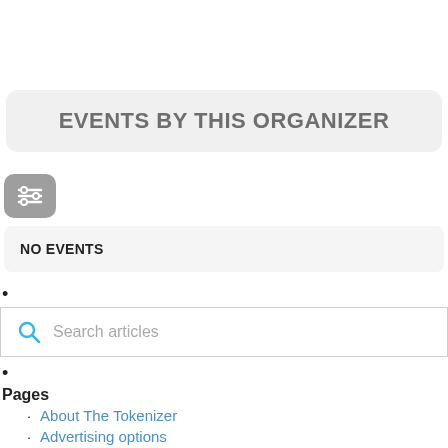EVENTS BY THIS ORGANIZER
[Figure (other): Filter/settings icon button with three horizontal lines, rounded square gray background]
NO EVENTS
[Figure (other): Search bar with magnifying glass icon and placeholder text 'Search articles']
Pages
About The Tokenizer
Advertising options
Advertising order form
Advertising Order Form
Contact
Event Discounts
Event Submission